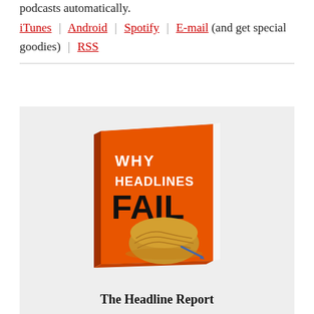podcasts automatically.
iTunes | Android | Spotify | E-mail (and get special goodies) | RSS
[Figure (illustration): Book cover of 'Why Headlines Fail' with orange background and a haystack with a needle. Book is shown in 3D perspective.]
The Headline Report